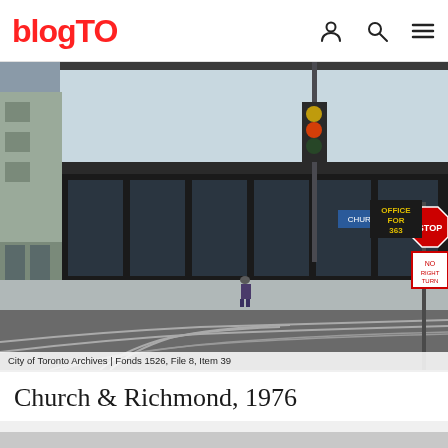blogTO
[Figure (photo): Street-level photograph of the Church & Richmond intersection in Toronto, 1976. Shows a modern white commercial building with large dark-framed windows along the ground floor, street car tracks curving through the intersection in the foreground, a traffic signal on a pole, and a stop sign. One pedestrian visible near the building. Yellow sign reading 'OFFICE FOR 363' partially visible on the building.]
City of Toronto Archives  |  Fonds 1526, File 8, Item 39
Church & Richmond, 1976